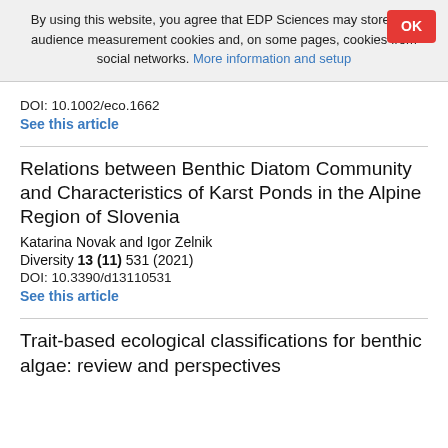By using this website, you agree that EDP Sciences may store web audience measurement cookies and, on some pages, cookies from social networks. More information and setup
DOI: 10.1002/eco.1662
See this article
Relations between Benthic Diatom Community and Characteristics of Karst Ponds in the Alpine Region of Slovenia
Katarina Novak and Igor Zelnik
Diversity 13 (11) 531 (2021)
DOI: 10.3390/d13110531
See this article
Trait-based ecological classifications for benthic algae: review and perspectives